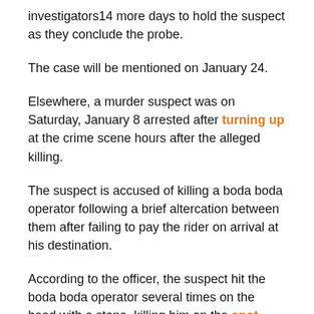investigators14 more days to hold the suspect as they conclude the probe.
The case will be mentioned on January 24.
Elsewhere, a murder suspect was on Saturday, January 8 arrested after turning up at the crime scene hours after the alleged killing.
The suspect is accused of killing a boda boda operator following a brief altercation between them after failing to pay the rider on arrival at his destination.
According to the officer, the suspect hit the boda boda operator several times on the head with a stone, killing him on the spot.
He then rode the motorcycle and hid it near his